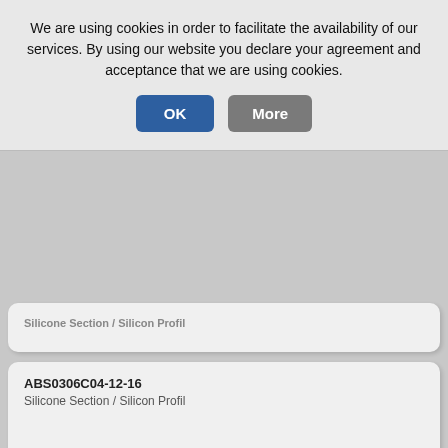We are using cookies in order to facilitate the availability of our services. By using our website you declare your agreement and acceptance that we are using cookies.
OK
More
Silicone Section / Silicon Profil
ABS0306C04-12-16
Silicone Section / Silicon Profil